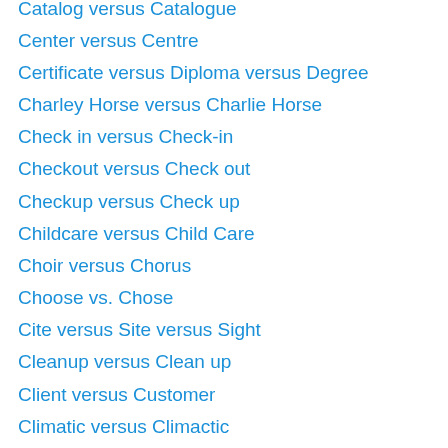Catalog versus Catalogue
Center versus Centre
Certificate versus Diploma versus Degree
Charley Horse versus Charlie Horse
Check in versus Check-in
Checkout versus Check out
Checkup versus Check up
Childcare versus Child Care
Choir versus Chorus
Choose vs. Chose
Cite versus Site versus Sight
Cleanup versus Clean up
Client versus Customer
Climatic versus Climactic
Cloth versus Clothes